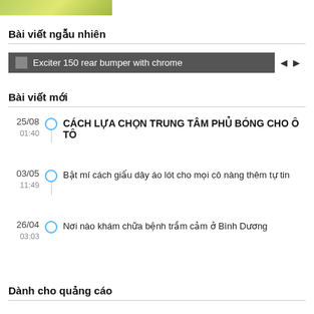[Figure (photo): Partial image of food/plant visible at top left corner]
Bài viết ngẫu nhiên
Exciter 150 rear bumper with chrome
Bài viết mới
25/08 01:40 CÁCH LỰA CHỌN TRUNG TÂM PHỦ BÓNG CHO Ô TÔ
03/05 11:49 Bật mí cách giấu dây áo lót cho mọi cô nàng thêm tự tin
26/04 03:03 Nơi nào khám chữa bệnh trầm cảm ở Bình Dương
Dành cho quảng cáo